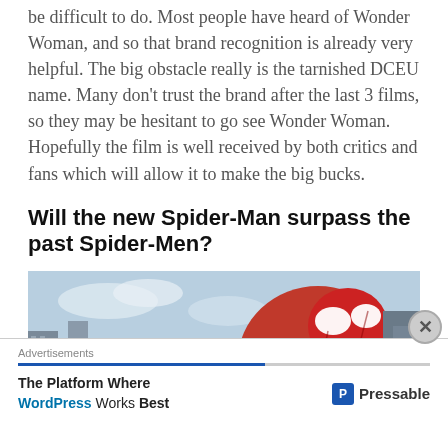be difficult to do. Most people have heard of Wonder Woman, and so that brand recognition is already very helpful. The big obstacle really is the tarnished DCEU name. Many don't trust the brand after the last 3 films, so they may be hesitant to go see Wonder Woman. Hopefully the film is well received by both critics and fans which will allow it to make the big bucks.
Will the new Spider-Man surpass the past Spider-Men?
[Figure (photo): Photo of Spider-Man in red suit leaping/swinging in an urban setting with buildings in background, Iron Man visible at left edge]
Advertisements
The Platform Where WordPress Works Best   Pressable